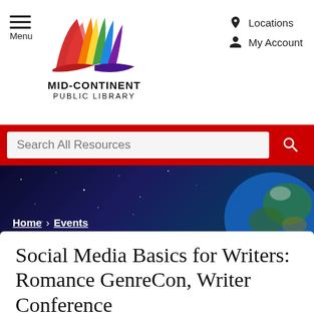Menu | MID-CONTINENT PUBLIC LIBRARY | Locations | My Account
Search All Resources
[Figure (screenshot): Hero banner with space/earth background image]
Home › Events
Social Media Basics for Writers: Romance GenreCon, Writer Conference